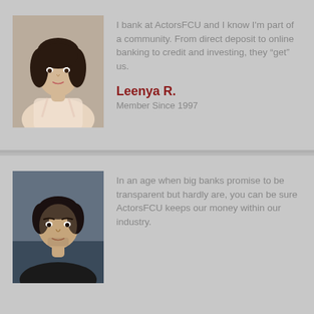[Figure (photo): Headshot of a woman with dark hair, Leenya R., member since 1997]
I bank at ActorsFCU and I know I'm part of a community. From direct deposit to online banking to credit and investing, they “get” us.
Leenya R.
Member Since 1997
[Figure (photo): Headshot of a man with dark hair, male member of ActorsFCU]
In an age when big banks promise to be transparent but hardly are, you can be sure ActorsFCU keeps our money within our industry.